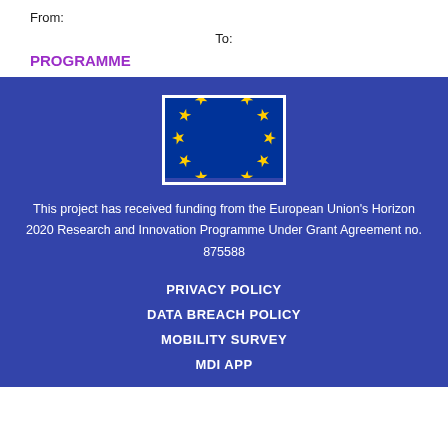From:
To:
PROGRAMME
[Figure (illustration): EU flag — blue rectangle with a circle of 12 yellow stars on dark blue background, bordered by white frame]
This project has received funding from the European Union's Horizon 2020 Research and Innovation Programme Under Grant Agreement no. 875588
PRIVACY POLICY
DATA BREACH POLICY
MOBILITY SURVEY
MDI APP